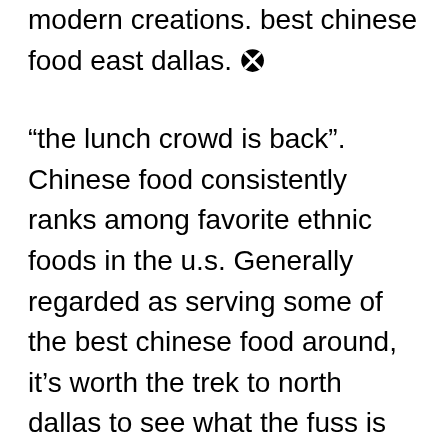modern creations. best chinese food east dallas.
“the lunch crowd is back”. Chinese food consistently ranks among favorite ethnic foods in the u.s. Generally regarded as serving some of the best chinese food around, it’s worth the trek to north dallas to see what the fuss is about.
This is a very small place, not much atmosphere, but. 6025 royal lane, dallas, tx 75230. This plano store sells food shipped from china, japan, korea and other asian countries.
Doordash is food delivery anywhere you go. Best chinese restaurants in dallas, texas: Arguably the best chinese food in town, the menu features traditional specialties as well as modern creations.